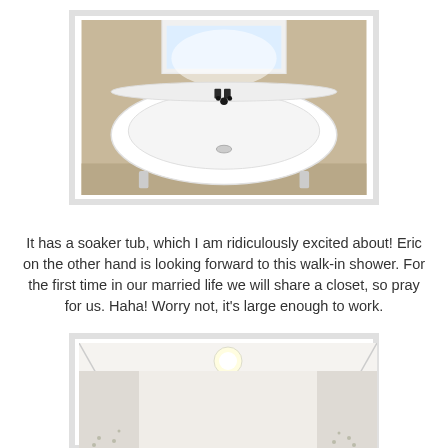[Figure (photo): Interior photo of a white freestanding soaker bathtub against a beige wall with a window above it, dark faucet hardware visible, tile floor]
It has a soaker tub, which I am ridiculously excited about! Eric on the other hand is looking forward to this walk-in shower. For the first time in our married life we will share a closet, so pray for us. Haha! Worry not, it's large enough to work.
[Figure (photo): Interior photo of a walk-in shower or closet space, white walls, ceiling light visible, partially shown at bottom of page]